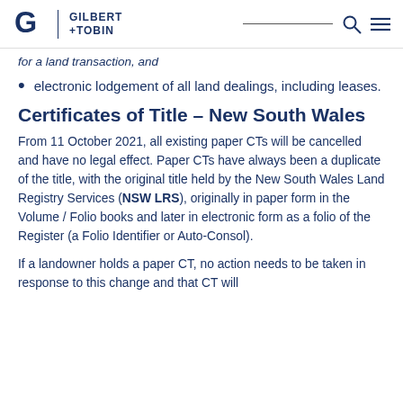Gilbert + Tobin
for a land transaction, and
electronic lodgement of all land dealings, including leases.
Certificates of Title – New South Wales
From 11 October 2021, all existing paper CTs will be cancelled and have no legal effect. Paper CTs have always been a duplicate of the title, with the original title held by the New South Wales Land Registry Services (NSW LRS), originally in paper form in the Volume / Folio books and later in electronic form as a folio of the Register (a Folio Identifier or Auto-Consol).
If a landowner holds a paper CT, no action needs to be taken in response to this change and that CT will